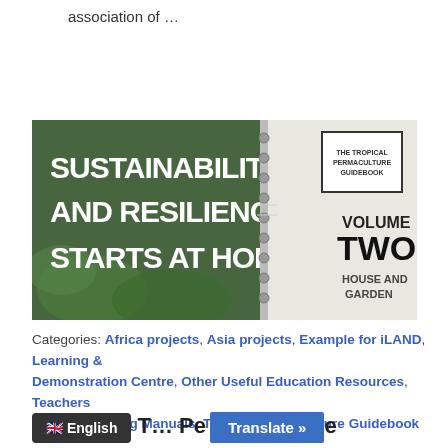association of …
CONTINUE READING →
[Figure (photo): Book cover image with bold white text reading 'SUSTAINABILITY AND RESILIENCE STARTS AT HOME' on a green illustrated background, beside a spiral-bound notebook labeled 'VOLUME TWO HOUSE AND GARDEN']
Categories: Africa projects, Asia projects, Example for iLAND, Learning & Demonstration Centre, Other Useful Education Resources, Teachers Guides, Training Manuals, Tropical Permaculture Guidebook
T… Pe… e
English  Translate »